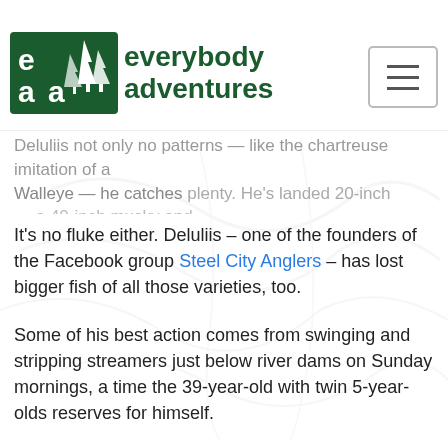everybody adventures
Deluliis not only no patterns — like the chartreuse imitation of a Walleye — he catches plenty. He's landed 20-inch – a 40-inch musky and flatheads of 50-plus pounds.
It's no fluke either. Deluliis – one of the founders of the Facebook group Steel City Anglers – has lost bigger fish of all those varieties, too.
Some of his best action comes from swinging and stripping streamers just below river dams on Sunday mornings, a time the 39-year-old with twin 5-year-olds reserves for himself.
Each kind of fish has its own attractions, he said. Flatheads, for example, are bull strong and burrow for the bottom
[Figure (photo): A colorful swirling abstract painting or photograph depicting a fish (possibly a musky or large gamefish) in dramatic black, white, and green tones.]